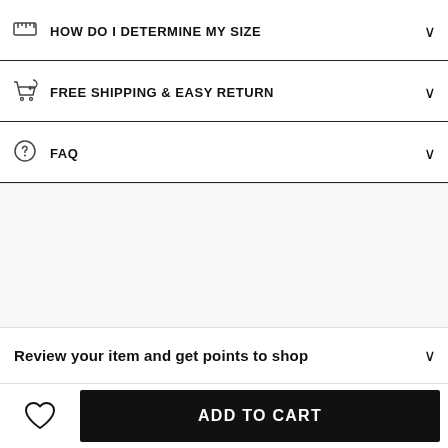HOW DO I DETERMINE MY SIZE
FREE SHIPPING & EASY RETURN
FAQ
Review your item and get points to shop
ADD TO CART